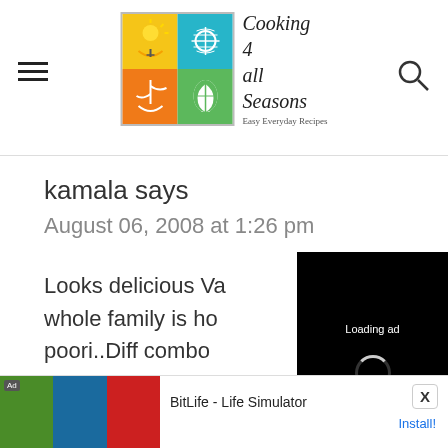[Figure (logo): Cooking 4 all Seasons blog logo with colorful grid and script text]
kamala says
August 06, 2008 at 1:26 pm
Looks delicious Va... whole family is ho... poori..Diff combo...
Reply
[Figure (screenshot): Black video ad overlay showing 'Loading ad' text with spinner and playback controls]
[Figure (screenshot): Bottom banner ad for BitLife - Life Simulator with Install button]